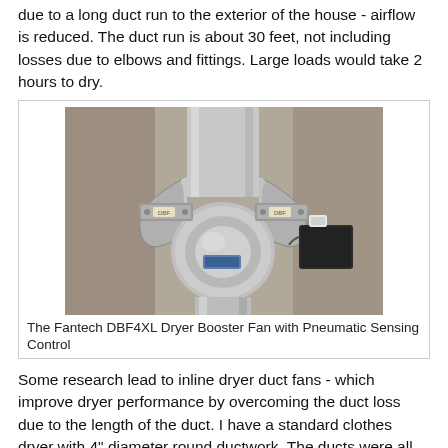due to a long duct run to the exterior of the house - airflow is reduced. The duct run is about 30 feet, not including losses due to elbows and fittings. Large loads would take 2 hours to dry.
[Figure (photo): Photo of the Fantech DBF4XL Dryer Booster Fan with Pneumatic Sensing Control mounted in ductwork, showing silver cylindrical booster fan unit connected to sheet metal ductwork with a black control box attached.]
The Fantech DBF4XL Dryer Booster Fan with Pneumatic Sensing Control
Some research lead to inline dryer duct fans - which improve dryer performance by overcoming the duct loss due to the length of the duct. I have a standard clothes dryer with 4" diameter round ductwork. The ducts were all sheet metal ducts, with only a short length of flexible at the dryer connection, so the ductwork was already optimized by being as smooth and as short as possible to reach the exterior of